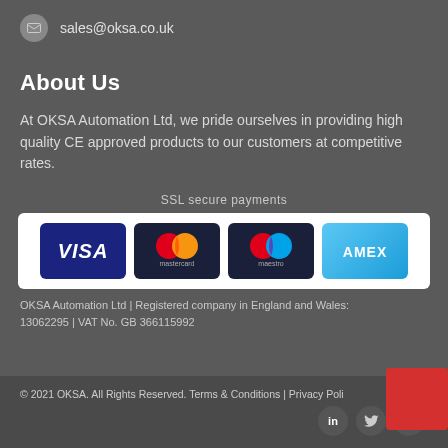sales@oksa.co.uk
About Us
At OKSA Automation Ltd, we pride ourselves in providing high quality CE approved products to our customers at competitive rates.
SSL secure payments
[Figure (logo): Four payment card logos: VISA, Mastercard, Maestro, AMEX]
OKSA Automation Ltd | Registered company in England and Wales: 13062295 | VAT No. GB 366115992
© 2021 OKSA. All Rights Reserved. Terms & Conditions | Privacy Policy